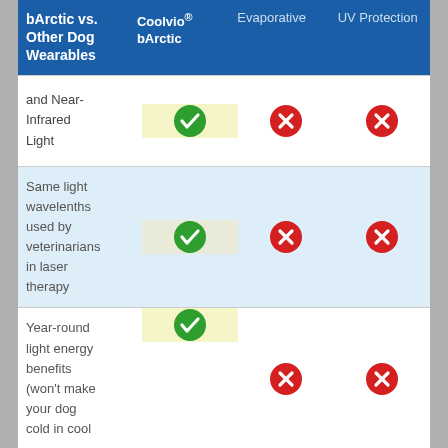| bArctic vs. Other Dog Wearables | Coolvio® bArctic | Evaporative | UV Protection |
| --- | --- | --- | --- |
| and Near-Infrared Light | ✓ | ✗ | ✗ |
| Same light wavelenths used by veterinarians in laser therapy | ✓ | ✗ | ✗ |
| Year-round light energy benefits (won't make your dog cold in cool | ✓ | ✗ | ✗ |